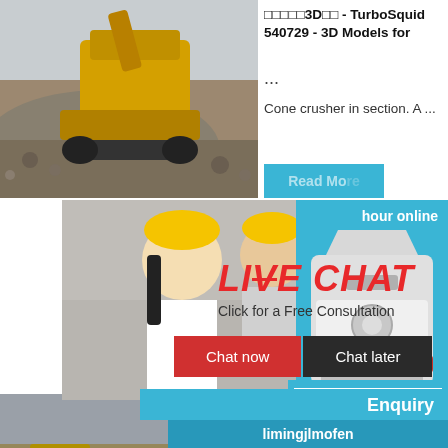[Figure (photo): Large yellow mining crusher machine working on a gravel/rock pile, outdoor industrial site]
□□□□□3D□□ - TurboSquid 540729 - 3D Models for ...
...
Cone crusher in section. A ...
[Figure (photo): Live chat banner with three workers in yellow hard hats and a woman in white uniform smiling. Red LIVE CHAT text, consultation offer, Chat now and Chat later buttons.]
LIVE CHAT
Click for a Free Consultation
Chat now
Chat later
[Figure (photo): Yellow mobile crushing/screening plant on a sandy/rocky terrain]
Modelling Metallu
2017-9-2 ...
[Figure (photo): Cone crusher machine on teal blue background with Click me to chat>> button and hour online text]
hour online
Click me to chat>>
Enquiry
Read ...
limingjlmofen